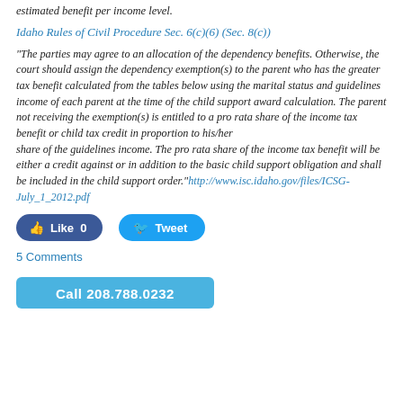estimated benefit per income level.
Idaho Rules of Civil Procedure Sec. 6(c)(6) (Sec. 8(c))
"The parties may agree to an allocation of the dependency benefits. Otherwise, the court should assign the dependency exemption(s) to the parent who has the greater tax benefit calculated from the tables below using the marital status and guidelines income of each parent at the time of the child support award calculation. The parent not receiving the exemption(s) is entitled to a pro rata share of the income tax benefit or child tax credit in proportion to his/her share of the guidelines income. The pro rata share of the income tax benefit will be either a credit against or in addition to the basic child support obligation and shall be included in the child support order." http://www.isc.idaho.gov/files/ICSG-July_1_2012.pdf
Like 0
Tweet
5 Comments
Call 208.788.0232